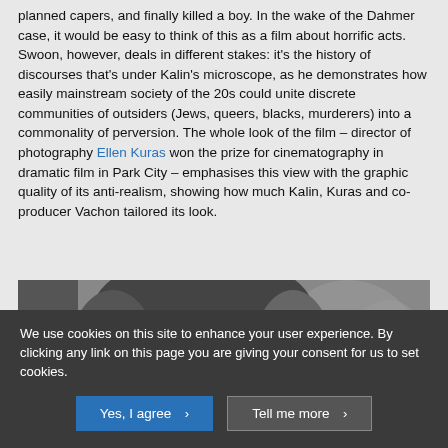planned capers, and finally killed a boy. In the wake of the Dahmer case, it would be easy to think of this as a film about horrific acts. Swoon, however, deals in different stakes: it's the history of discourses that's under Kalin's microscope, as he demonstrates how easily mainstream society of the 20s could unite discrete communities of outsiders (Jews, queers, blacks, murderers) into a commonality of perversion. The whole look of the film – director of photography Ellen Kuras won the prize for cinematography in dramatic film in Park City – emphasises this view with the graphic quality of its anti-realism, showing how much Kalin, Kuras and co-producer Vachon tailored its look.
[Figure (photo): Black and white close-up photograph of a man's face looking directly at the camera, with another blurred figure visible in the background to the right.]
We use cookies on this site to enhance your user experience. By clicking any link on this page you are giving your consent for us to set cookies.